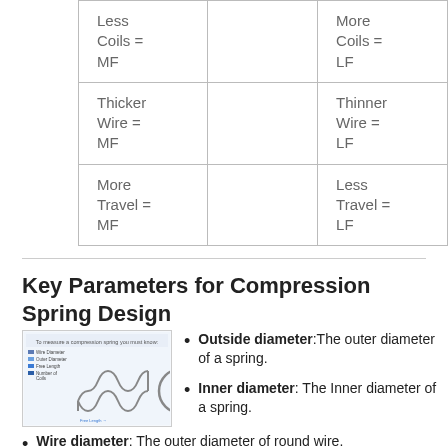| Less Coils = MF | More Coils = LF |
| Thicker Wire = MF | Thinner Wire = LF |
| More Travel = MF | Less Travel = LF |
Key Parameters for Compression Spring Design
[Figure (illustration): Diagram showing how to measure a compression spring, with labels for wire diameter, outer diameter, free length, number of coils/springs, and free length annotation.]
Outside diameter: The outer diameter of a spring.
Inner diameter: The Inner diameter of a spring.
Wire diameter: The outer diameter of round wire.